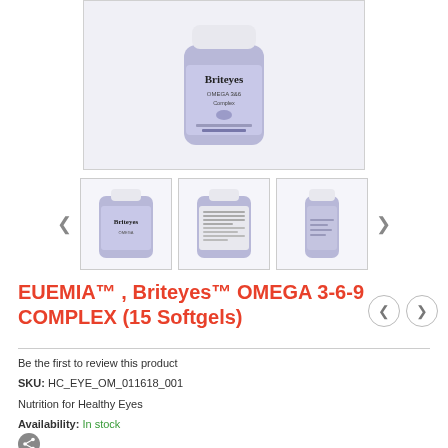[Figure (photo): Main product photo of Briteyes Omega 3-6-9 Complex supplement bottle (purple label, white cap) on light gray/purple background]
[Figure (photo): Three thumbnail images of the Briteyes Omega 3-6-9 supplement bottle from different angles: front label, back/nutrition label, and side view]
EUEMIA™ , Briteyes™ OMEGA 3-6-9 COMPLEX (15 Softgels)
Be the first to review this product
SKU: HC_EYE_OM_011618_001
Nutrition for Healthy Eyes
Availability: In stock